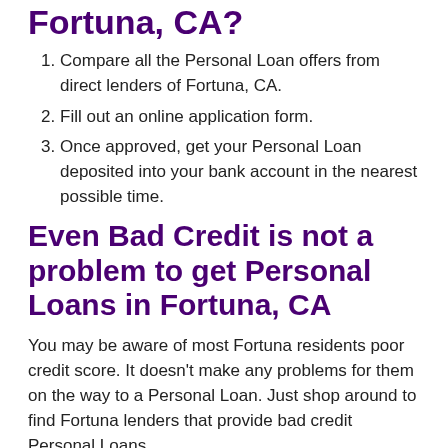Fortuna, CA?
Compare all the Personal Loan offers from direct lenders of Fortuna, CA.
Fill out an online application form.
Once approved, get your Personal Loan deposited into your bank account in the nearest possible time.
Even Bad Credit is not a problem to get Personal Loans in Fortuna, CA
You may be aware of most Fortuna residents poor credit score. It doesn’t make any problems for them on the way to a Personal Loan. Just shop around to find Fortuna lenders that provide bad credit Personal Loans.
What else can you do to facilitate the process?